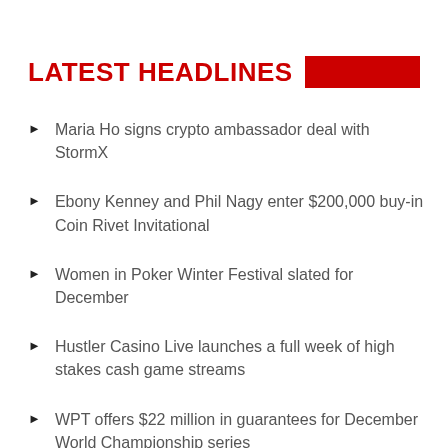LATEST HEADLINES
Maria Ho signs crypto ambassador deal with StormX
Ebony Kenney and Phil Nagy enter $200,000 buy-in Coin Rivet Invitational
Women in Poker Winter Festival slated for December
Hustler Casino Live launches a full week of high stakes cash game streams
WPT offers $22 million in guarantees for December World Championship series